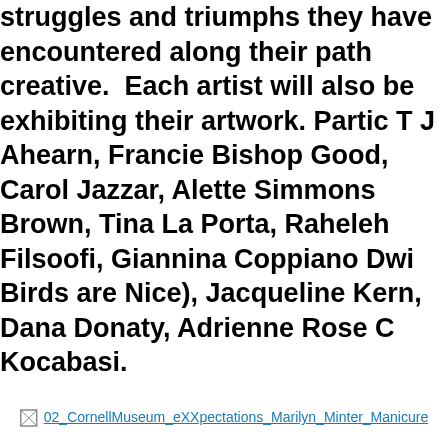struggles and triumphs they have encountered along their path creative.  Each artist will also be exhibiting their artwork. Partic T J Ahearn, Francie Bishop Good, Carol Jazzar, Alette Simmons Brown, Tina La Porta, Raheleh Filsoofi, Giannina Coppiano Dwi Birds are Nice), Jacqueline Kern, Dana Donaty, Adrienne Rose C Kocabasi.
[Figure (other): A broken/missing image icon followed by a hyperlink text reading '02_CornellMuseum_eXXpectations_Marilyn_Minter_Manicure']